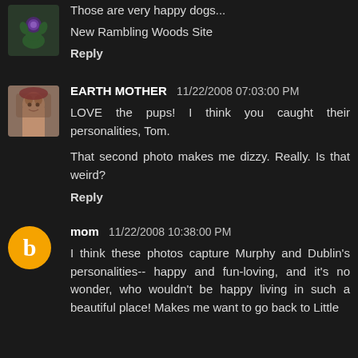Those are very happy dogs...
New Rambling Woods Site
Reply
EARTH MOTHER  11/22/2008 07:03:00 PM
LOVE the pups! I think you caught their personalities, Tom.
That second photo makes me dizzy. Really. Is that weird?
Reply
mom  11/22/2008 10:38:00 PM
I think these photos capture Murphy and Dublin's personalities-- happy and fun-loving, and it's no wonder, who wouldn't be happy living in such a beautiful place! Makes me want to go back to Little